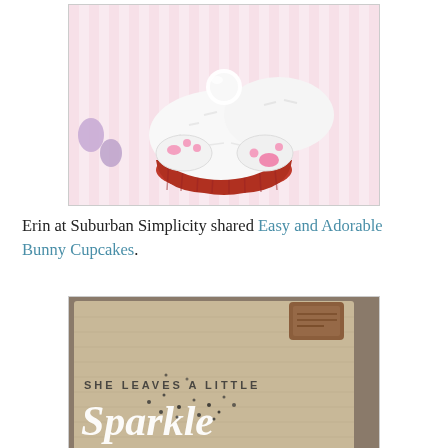[Figure (photo): A bunny cupcake with white frosting and coconut shreds, decorated with fondant bunny feet with pink paw pads, in a red cupcake liner, on a pastel striped background with colorful Easter eggs.]
Erin at Suburban Simplicity shared Easy and Adorable Bunny Cupcakes.
[Figure (photo): A linen tote bag with a brown leather tag in the corner, decorated with rhinestones and printed text reading 'SHE LEAVES A LITTLE Sparkle' in white lettering.]